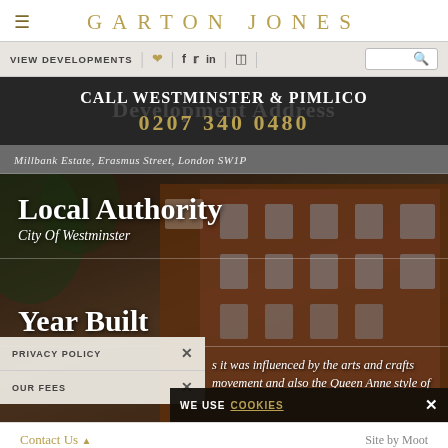GARTON JONES
VIEW DEVELOPMENTS | ♥ | f | twitter | in | instagram |
CALL WESTMINSTER & PIMLICO
0207 340 0480
Millbank Estate, Erasmus Street, London SW1P
Local Authority
City Of Westminster
Year Built
s it was influenced by the arts and crafts movement and also the Queen Anne style of
[Figure (photo): Red brick residential building (Millbank Estate) photographed outdoors with tree branches in foreground]
PRIVACY POLICY
OUR FEES
WE USE COOKIES
Contact Us ▲   Site by Moot